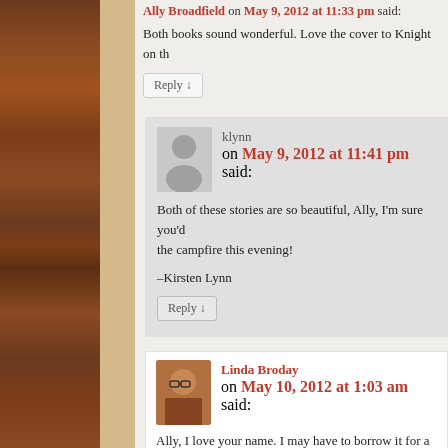Ally Broadfield on May 9, 2012 at 11:33 pm said:
Both books sound wonderful. Love the cover to Knight on th
Reply ↓
klynn on May 9, 2012 at 11:41 pm said:
Both of these stories are so beautiful, Ally, I'm sure you'd the campfire this evening!
–Kirsten Lynn
Reply ↓
Linda Broday on May 10, 2012 at 1:03 am said:
Ally, I love your name. I may have to borrow it for a book you believe a 17 year old girl, the granddaughter to my w